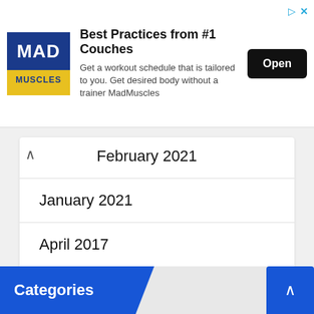[Figure (screenshot): Advertisement banner for MadMuscles app featuring logo, title 'Best Practices from #1 Couches', description text, and Open button]
February 2021
January 2021
April 2017
June 2014
April 2014
Categories